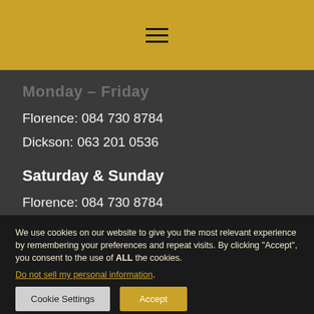≡ (hamburger menu icon)
Monday – Friday
Florence: 084 730 8784
Dickson: 063 201 0536
Saturday & Sunday
Florence: 084 730 8784
Dickson: 063 201 0536
We use cookies on our website to give you the most relevant experience by remembering your preferences and repeat visits. By clicking "Accept", you consent to the use of ALL the cookies.
Do not sell my personal information.
Cookie Settings | Accept